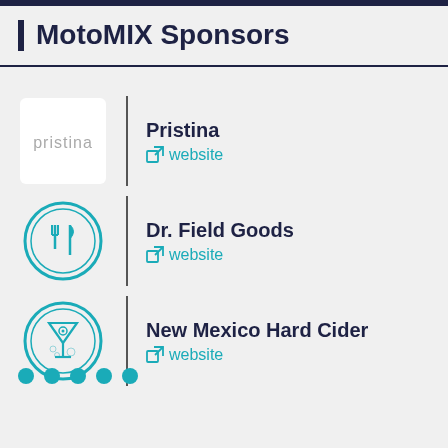MotoMIX Sponsors
[Figure (logo): Pristina sponsor logo - white box with 'pristina' text in grey]
Pristina
website
[Figure (logo): Dr. Field Goods sponsor logo - teal circle with fork and knife icon]
Dr. Field Goods
website
[Figure (logo): New Mexico Hard Cider sponsor logo - teal circle with cocktail glass icon]
New Mexico Hard Cider
website
• • • • •